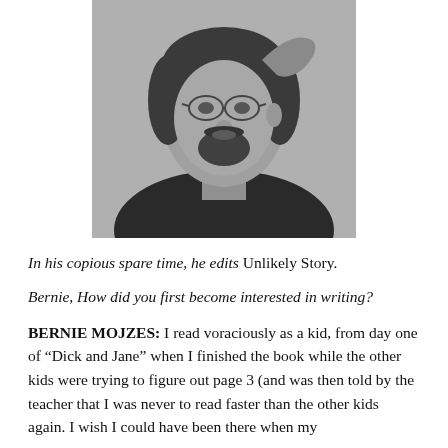[Figure (photo): Black and white portrait photograph of a man with glasses and a goatee beard, looking at the camera.]
In his copious spare time, he edits Unlikely Story.
Bernie, How did you first become interested in writing?
BERNIE MOJZES: I read voraciously as a kid, from day one of “Dick and Jane” when I finished the book while the other kids were trying to figure out page 3 (and was then told by the teacher that I was never to read faster than the other kids again. I wish I could have been there when my